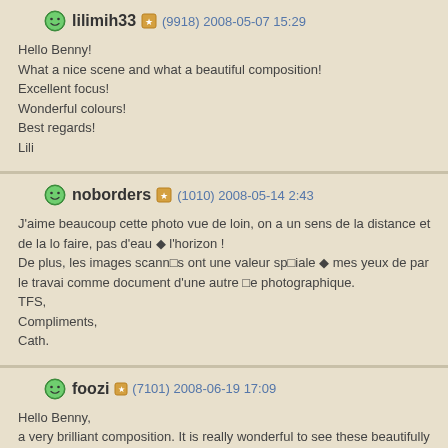lilimih33 (9918) 2008-05-07 15:29
Hello Benny!
What a nice scene and what a beautiful composition!
Excellent focus!
Wonderful colours!
Best regards!
Lili
noborders (1010) 2008-05-14 2:43
J'aime beaucoup cette photo vue de loin, on a un sens de la distance et de la lo faire, pas d'eau ◆ l'horizon !
De plus, les images scann□s ont une valeur sp□iale ◆ mes yeux de par le travai comme document d'une autre □e photographique.
TFS,
Compliments,
Cath.
foozi (7101) 2008-06-19 17:09
Hello Benny,
a very brilliant composition. It is really wonderful to see these beautifully position shorts, great sandy backgorund and blurred trees at the back. The combination beauty of this shot.